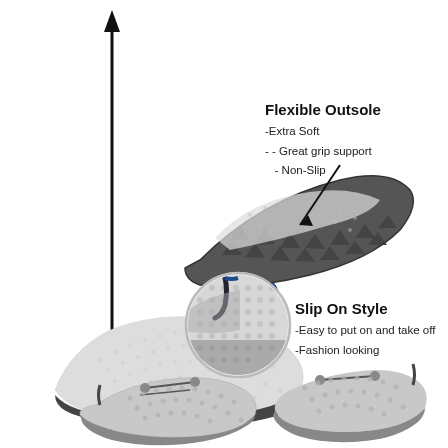[Figure (photo): Product infographic showing water/aqua shoes. Top section: two gray mesh slip-on water shoes displayed at an angle, one showing the sole with a textured grip pattern, with a large upward arrow on the left. An arrow points to the sole area with text 'Flexible Outsole'. Middle section: a circular close-up of the heel/tab area of the shoe with text 'Slip On Style'. Bottom section: a close-up photo of gray mesh slip-on shoes with elastic bungee laces.]
Flexible Outsole
-Extra Soft
- - Great grip support
- Non-Slip
Slip On Style
-Easy to put on and take off
-Fashion looking